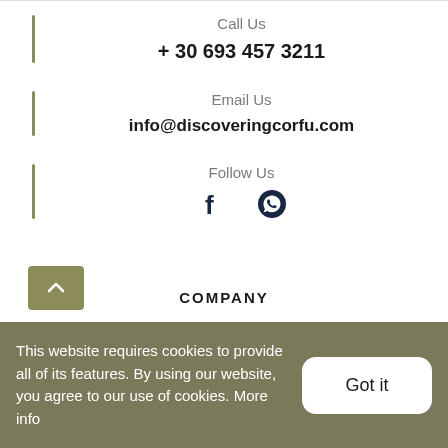Call Us
+ 30 693 457 3211
Email Us
info@discoveringcorfu.com
Follow Us
[Figure (other): Social media icons: Facebook and WhatsApp]
COMPANY
This website requires cookies to provide all of its features. By using our website, you agree to our use of cookies. More info